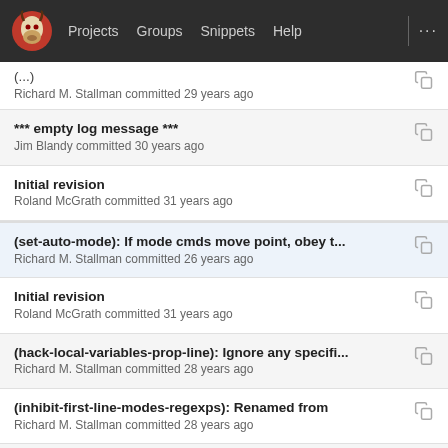Projects  Groups  Snippets  Help  ...
(...)
Richard M. Stallman committed 29 years ago
*** empty log message ***
Jim Blandy committed 30 years ago
Initial revision
Roland McGrath committed 31 years ago
(set-auto-mode): If mode cmds move point, obey t...
Richard M. Stallman committed 26 years ago
Initial revision
Roland McGrath committed 31 years ago
(hack-local-variables-prop-line): Ignore any specifi...
Richard M. Stallman committed 28 years ago
(inhibit-first-line-modes-regexps): Renamed from
Richard M. Stallman committed 28 years ago
(set-auto-mode): Discard versions from file name ...